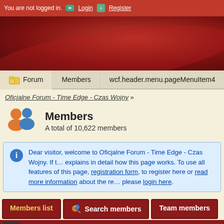You are not logged in. Login Register
[Figure (screenshot): Red gradient banner background for forum header]
Forum | Members | wcf.header.menu.pageMenuItem4
Oficjalne Forum - Time Edge - Czas Wojny »
Members
A total of 10,622 members
Dear visitor, welcome to Oficjalne Forum - Time Edge - Czas Wojny. If t… explains in detail how this page works. To use all features of this page, registration form, to register here or read more information about the re… please login here.
Members list | Search members | Team members
All # A B C D E F G H I J K L M N O
Ü Ö